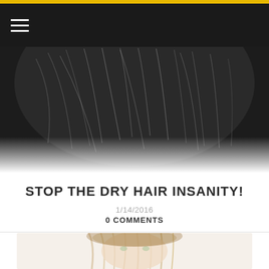[Figure (photo): Black and white close-up photo of dark flowing hair against white background, top portion of a circular/oval crop]
STOP THE DRY HAIR INSANITY!
1/14/2016
0 COMMENTS
[Figure (photo): Woman with long wavy blonde/ombre hair looking frustrated, photo partially visible at bottom of page]